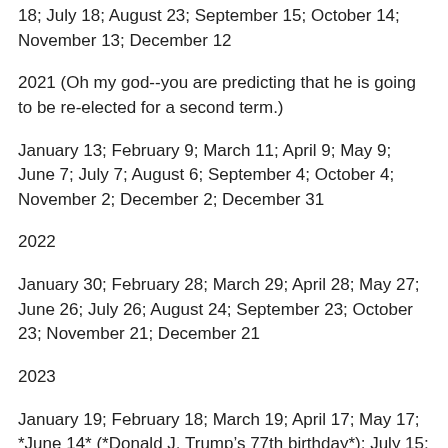18; July 18; August 23; September 15; October 14; November 13; December 12
2021 (Oh my god--you are predicting that he is going to be re-elected for a second term.)
January 13; February 9; March 11; April 9; May 9; June 7; July 7; August 6; September 4; October 4; November 2; December 2; December 31
2022
January 30; February 28; March 29; April 28; May 27; June 26; July 26; August 24; September 23; October 23; November 21; December 21
2023
January 19; February 18; March 19; April 17; May 17; *June 14* (*Donald J. Trump’s 77th birthday*); July 15; August 13; September 12; October 12; November 10; December 10